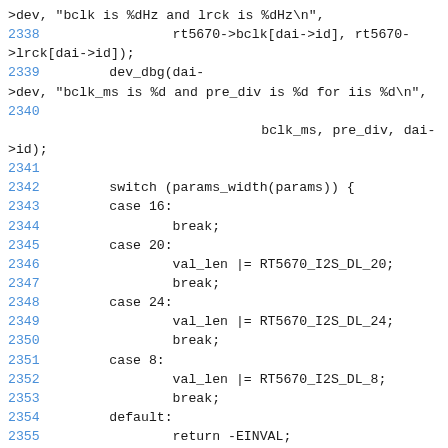[Figure (screenshot): Source code listing showing C code lines 2338-2357, including dev_dbg calls and a switch statement on params_width(params) with cases for 16, 20, 24, 8, and default returning -EINVAL.]